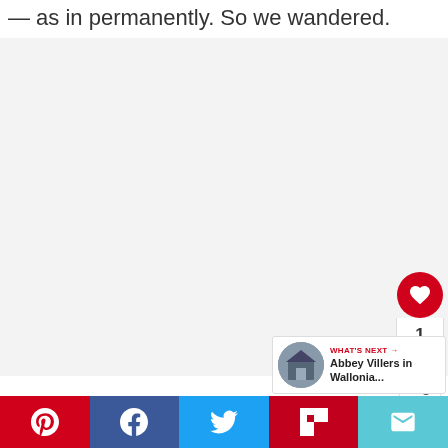— as in permanently. So we wandered.
[Figure (photo): Large image area, appears blank/light gray, occupying most of the page]
[Figure (infographic): Sidebar with red heart like button, like count of 1, and white share button]
[Figure (infographic): What's Next card showing Abbey Villers in Wallonia... with thumbnail image]
[Figure (infographic): Social share bar at bottom with Pinterest (red), Facebook (blue), Twitter (light blue), Flipboard (red), Email (teal) buttons]